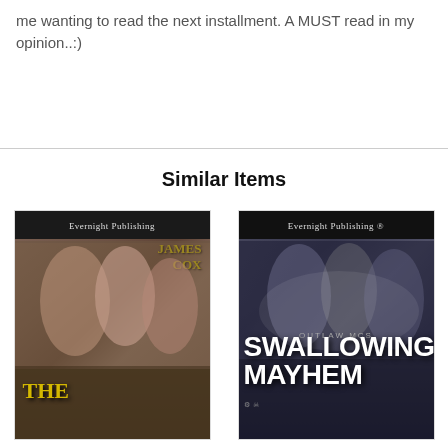me wanting to read the next installment. A MUST read in my opinion..:)
Similar Items
[Figure (photo): Book cover for 'The...' by James Cox, published by Evernight Publishing. Shows shirtless male figures with forest background, title in gold text.]
[Figure (photo): Book cover for 'Swallowing Mayhem' from Outlaw MCs series, published by Evernight Publishing. Shows figures with smoke/mist, white bold title text.]